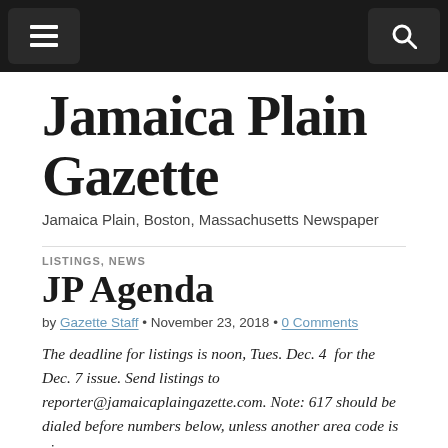≡  🔍
Jamaica Plain Gazette
Jamaica Plain, Boston, Massachusetts Newspaper
LISTINGS, NEWS
JP Agenda
by Gazette Staff • November 23, 2018 • 0 Comments
The deadline for listings is noon, Tues. Dec. 4  for the Dec. 7 issue. Send listings to reporter@jamaicaplaingazette.com. Note: 617 should be dialed before numbers below, unless another area code is given.
Meetings